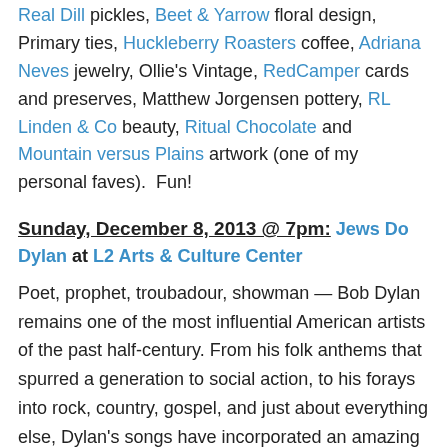Real Dill pickles, Beet & Yarrow floral design, Primary ties, Huckleberry Roasters coffee, Adriana Neves jewelry, Ollie's Vintage, RedCamper cards and preserves, Matthew Jorgensen pottery, RL Linden & Co beauty, Ritual Chocolate and Mountain versus Plains artwork (one of my personal faves).  Fun!
Sunday, December 8, 2013 @ 7pm: Jews Do Dylan at L2 Arts & Culture Center
Poet, prophet, troubadour, showman — Bob Dylan remains one of the most influential American artists of the past half-century. From his folk anthems that spurred a generation to social action, to his forays into rock, country, gospel, and just about everything else, Dylan's songs have incorporated an amazing array of political, philosophical, Biblical, and literary influences. Come on out for an